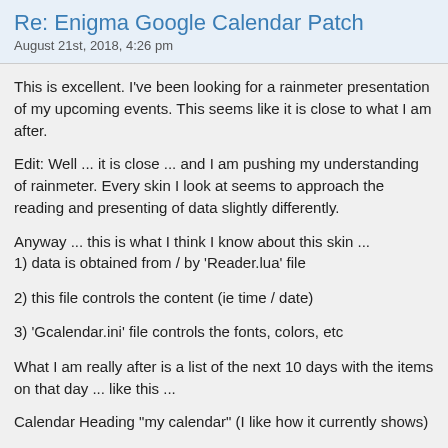Re: Enigma Google Calendar Patch
August 21st, 2018, 4:26 pm
This is excellent. I've been looking for a rainmeter presentation of my upcoming events. This seems like it is close to what I am after.
Edit: Well ... it is close ... and I am pushing my understanding of rainmeter. Every skin I look at seems to approach the reading and presenting of data slightly differently.
Anyway ... this is what I think I know about this skin ...
1) data is obtained from / by 'Reader.lua' file
2) this file controls the content (ie time / date)
3) 'Gcalendar.ini' file controls the fonts, colors, etc
What I am really after is a list of the next 10 days with the items on that day ... like this ...
Calendar Heading "my calendar" (I like how it currently shows)
Tue Aug 21, 2018 (slightly bigger and bolder)
All Day Today is Tuesday
8:00 - 9:00 Breakfast of Champions
<space>